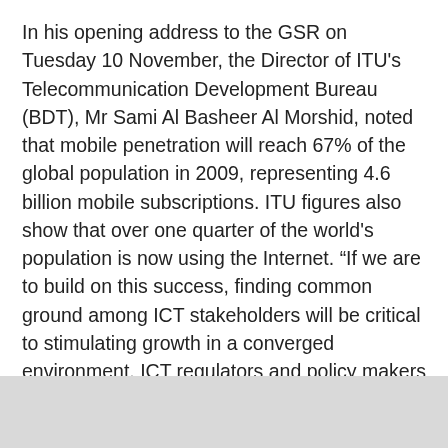In his opening address to the GSR on Tuesday 10 November, the Director of ITU's Telecommunication Development Bureau (BDT), Mr Sami Al Basheer Al Morshid, noted that mobile penetration will reach 67% of the global population in 2009, representing 4.6 billion mobile subscriptions. ITU figures also show that over one quarter of the world's population is now using the Internet. “If we are to build on this success, finding common ground among ICT stakeholders will be critical to stimulating growth in a converged environment. ICT regulators and policy makers need to keep pace with a fast changing environment and carry out a delicate balancing act between a hands-on or hands-off approach. This is a challenge for all countries, and we are all here to tackle these challenges together,” he said